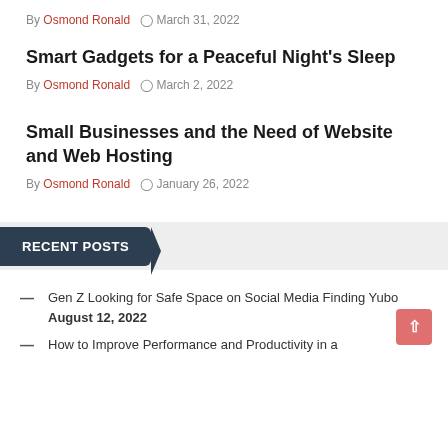By Osmond Ronald  ⊙  March 31, 2022
Smart Gadgets for a Peaceful Night's Sleep
By Osmond Ronald  ⊙  March 2, 2022
Small Businesses and the Need of Website and Web Hosting
By Osmond Ronald  ⊙  January 26, 2022
RECENT POSTS
Gen Z Looking for Safe Space on Social Media Finding Yubo August 12, 2022
How to Improve Performance and Productivity in a